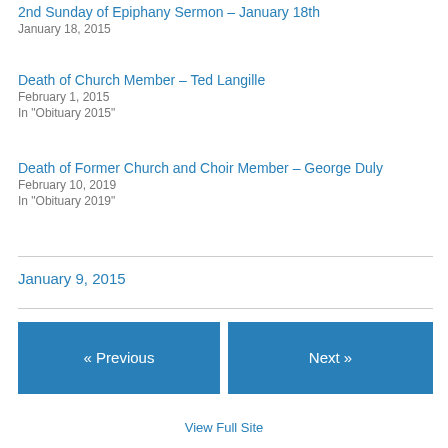2nd Sunday of Epiphany Sermon – January 18th
January 18, 2015
Death of Church Member – Ted Langille
February 1, 2015
In "Obituary 2015"
Death of Former Church and Choir Member – George Duly
February 10, 2019
In "Obituary 2019"
January 9, 2015
« Previous
Next »
View Full Site